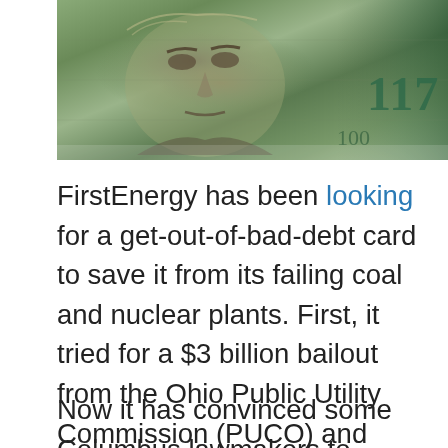[Figure (photo): Close-up photo of a US $100 bill showing Benjamin Franklin's face and partial number '100' in green teal color on the right side]
FirstEnergy has been looking for a get-out-of-bad-debt card to save it from its failing coal and nuclear plants. First, it tried for a $3 billion bailout from the Ohio Public Utility Commission (PUCO) and failed. Then it went begging in Washington for a federal bailout and failed. It won a $600 million bailout from the PUCO that Environmental Defense Fund is appealing to the Ohio Supreme Court.
Now it has convinced some Columbus lawmakers to introduce H.B. 6, a $300 million